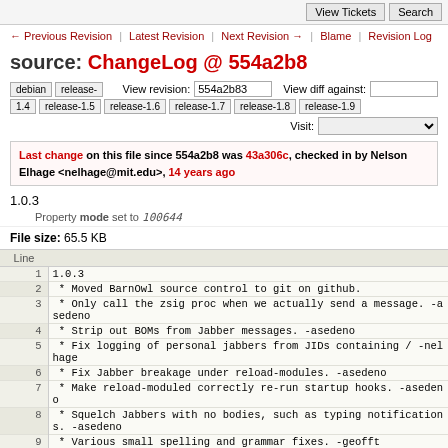View Tickets | Search
← Previous Revision | Latest Revision | Next Revision → | Blame | Revision Log
source: ChangeLog @ 554a2b8
debian | release- | View revision: 554a2b83 | View diff against: | 1.4 | release-1.5 | release-1.6 | release-1.7 | release-1.8 | release-1.9 | Visit:
Last change on this file since 554a2b8 was 43a306c, checked in by Nelson Elhage <nelhage@mit.edu>, 14 years ago
1.0.3
Property mode set to 100644
File size: 65.5 KB
| Line |  |
| --- | --- |
| 1 | 1.0.3 |
| 2 |  * Moved BarnOwl source control to git on github. |
| 3 |  * Only call the zsig proc when we actually send a message. -asedeno |
| 4 |  * Strip out BOMs from Jabber messages. -asedeno |
| 5 |  * Fix logging of personal jabbers from JIDs containing / -nelhage |
| 6 |  * Fix Jabber breakage under reload-modules. -asedeno |
| 7 |  * Make reload-moduled correctly re-run startup hooks. -asedeno |
| 8 |  * Squelch Jabbers with no bodies, such as typing notifications. -asedeno |
| 9 |  * Various small spelling and grammar fixes. -geofft |
| 10 |  * Fix a segfault when sending short zcrypted messages. -asedeno |
| 11 |  |
| 12 | 1.0.2.1 |